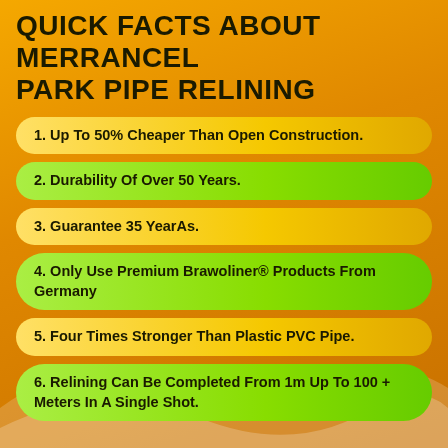QUICK FACTS ABOUT MERRANCEL PARK PIPE RELINING
1. Up To 50% Cheaper Than Open Construction.
2. Durability Of Over 50 Years.
3. Guarantee 35 YearAs.
4. Only Use Premium Brawoliner® Products From Germany
5. Four Times Stronger Than Plastic PVC Pipe.
6. Relining Can Be Completed From 1m Up To 100 + Meters In A Single Shot.